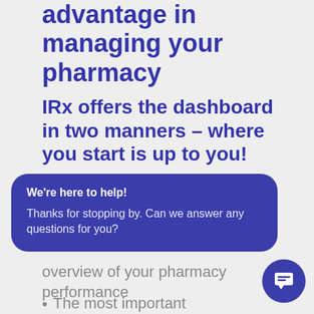advantage in managing your pharmacy
IRx offers the dashboard in two manners – where you start is up to you!
We're here to help!
Thanks for stopping by. Can we answer any questions for you?
overview of your pharmacy performance
The most important